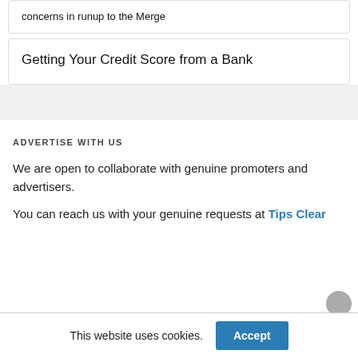concerns in runup to the Merge
Getting Your Credit Score from a Bank
ADVERTISE WITH US
We are open to collaborate with genuine promoters and advertisers.
You can reach us with your genuine requests at Tips Clear
This website uses cookies.